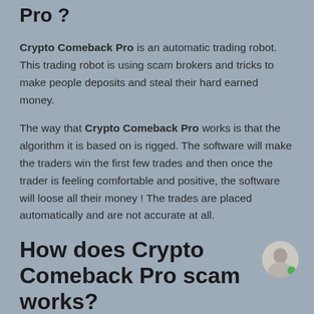Pro ?
Crypto Comeback Pro is an automatic trading robot. This trading robot is using scam brokers and tricks to make people deposits and steal their hard earned money.
The way that Crypto Comeback Pro works is that the algorithm it is based on is rigged. The software will make the traders win the first few trades and then once the trader is feeling comfortable and positive, the software will loose all their money ! The trades are placed automatically and are not accurate at all.
How does Crypto Comeback Pro scam works?
As we said earlier, Crypto Comeback Pro algorithms are